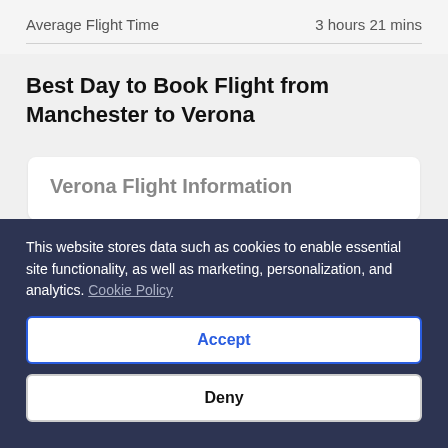|  |  |
| --- | --- |
| Average Flight Time | 3 hours 21 mins |
Best Day to Book Flight from Manchester to Verona
Verona Flight Information
This website stores data such as cookies to enable essential site functionality, as well as marketing, personalization, and analytics. Cookie Policy
Accept
Deny